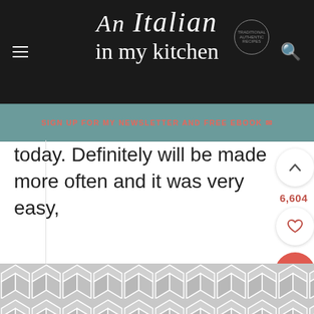An Italian in my kitchen
SIGN UP FOR MY NEWSLETTER AND FREE EBOOK
today. Definitely will be made more often and it was very easy,
REPLY
6,604
ROSEMARY SAYS
AUGUST 31, 2021 AT 6:33 PM
Hi Carol, thanks so much, so glad it was enjoyed, especially